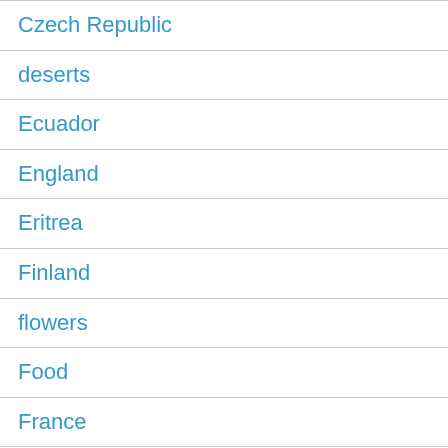Czech Republic
deserts
Ecuador
England
Eritrea
Finland
flowers
Food
France
gardens